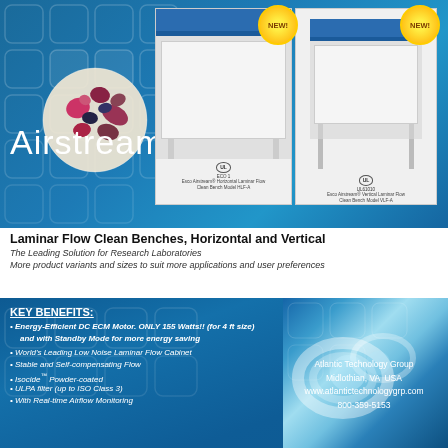[Figure (photo): Top decorative section: blue background with hexagonal grid pattern, bacteria/cells microscope image in circle, two laminar flow clean bench product photos (horizontal and vertical models) with NEW badges, Airstream logo]
Laminar Flow Clean Benches, Horizontal and Vertical
The Leading Solution for Research Laboratories
More product variants and sizes to suit more applications and user preferences
KEY BENEFITS:
Energy-Efficient DC ECM Motor. ONLY 155 Watts!! (for 4 ft size) and with Standby Mode for more energy saving
World's Leading Low Noise Laminar Flow Cabinet
Stable and Self-compensating Flow
Isocide™ Powder-coated
ULPA filter (up to ISO Class 3)
With Real-time Airflow Monitoring
Atlantic Technology Group
Midlothian, VA  USA
www.atlantictechnologygrp.com
800-359-5153